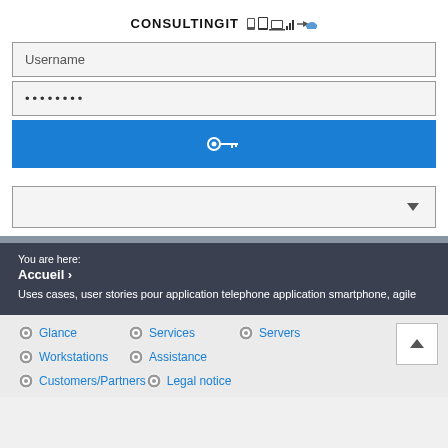[Figure (logo): CONSULTINGIT logo with icons: small device icons, arrow, and cloud icon]
Username
••••••••
[Figure (other): Blue login button with key icon]
[Figure (other): Dropdown selector with chevron down]
You are here:
Accueil ›
Uses cases, user stories pour application telephone application smartphone, agile
Glance
Services
Servers
Workstations
Assistance
Customers/Partners
Legal notice